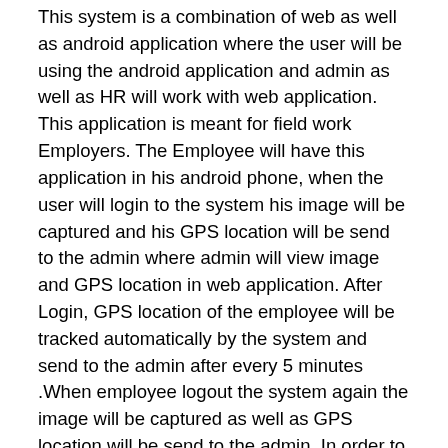This system is a combination of web as well as android application where the user will be using the android application and admin as well as HR will work with web application. This application is meant for field work Employers. The Employee will have this application in his android phone, when the user will login to the system his image will be captured and his GPS location will be send to the admin where admin will view image and GPS location in web application. After Login, GPS location of the employee will be tracked automatically by the system and send to the admin after every 5 minutes .When employee logout the system again the image will be captured as well as GPS location will be send to the admin. In order to keep track of the attendance as well as payroll of the employee, this system plays a major role. The role of the admin is to add new employee by entering his personal details and admin will provide the employee with identity number and password to the user so that he can access the application in his android